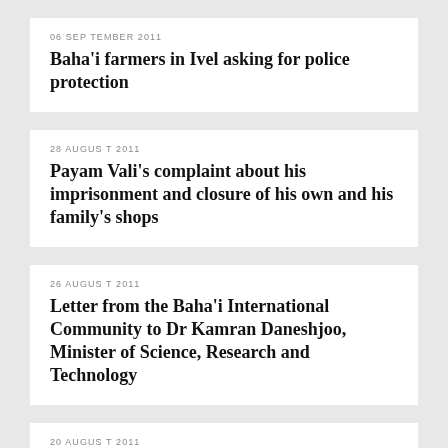06 SEPTEMBER 2011
Baha'i farmers in Ivel asking for police protection
28 AUGUST 2011
Payam Vali's complaint about his imprisonment and closure of his own and his family's shops
26 AUGUST 2011
Letter from the Baha'i International Community to Dr Kamran Daneshjoo, Minister of Science, Research and Technology
20 AUGUST 2011
Payam Vali demands permission to reopen his business